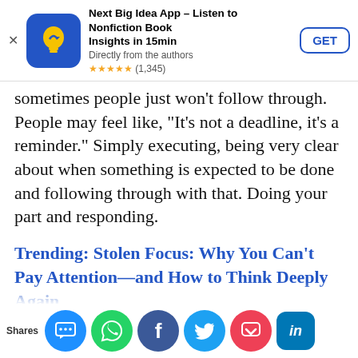[Figure (screenshot): App store advertisement banner for 'Next Big Idea App – Listen to Nonfiction Book Insights in 15min'. Shows app icon (blue with yellow lightbulb/arrow), title, subtitle 'Directly from the authors', 5-star rating (1,345 reviews), and a GET button.]
sometimes people just won't follow through. People may feel like, “It’s not a deadline, it’s a reminder.” Simply executing, being very clear about when something is expected to be done and following through with that. Doing your part and responding.
Trending: Stolen Focus: Why You Can’t Pay Attention—and How to Think Deeply Again
I work with a lot of different people on a lot of different tasks… overall moments of mindfulness, I noo…
[Figure (screenshot): Social sharing toolbar at the bottom with icons for SMS, WhatsApp, Facebook, Twitter, Pocket, and LinkedIn, with a 'Shares' label on the left.]